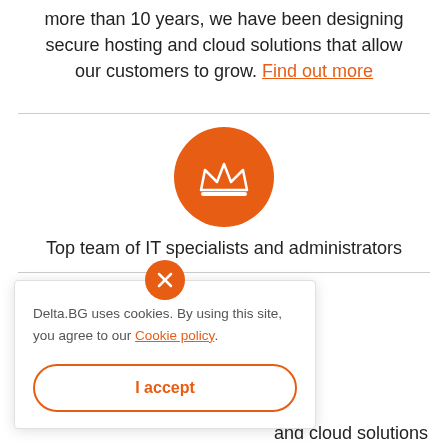more than 10 years, we have been designing secure hosting and cloud solutions that allow our customers to grow. Find out more
[Figure (illustration): Orange circle with a white crown icon inside]
Top team of IT specialists and administrators
Delta.BG uses cookies. By using this site, you agree to our Cookie policy.
I accept
and cloud solutions